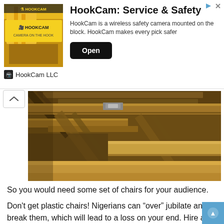[Figure (infographic): HookCam advertisement banner with yellow/black logo image on left, title 'HookCam: Service & Safety', description text, and Open button]
HookCam: Service & Safety
HookCam is a wireless safety camera mounted on the block. HookCam makes every pick safer
HookCam LLC
[Figure (photo): Close-up photo of wooden benches or scaffolding planks stacked and arranged, viewed from low angle, showing rough wood boards and metal connectors]
So you would need some set of chairs for your audience.
Don’t get plastic chairs! Nigerians can “over” jubilate and break them, which will lead to a loss on your end. Hire a carpenter to help with making a strong wooden bench.